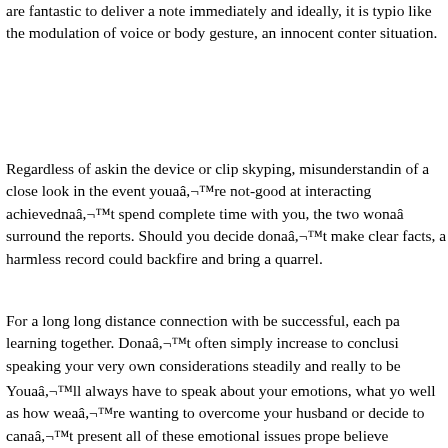are fantastic to deliver a note immediately and ideally, it is typio like the modulation of voice or body gesture, an innocent conten situation.
Regardless of askin the device or clip skyping, misunderstandin of a close look in the event youaâ,¬™re not-good at interacting achievednaâ,¬™t spend complete time with you, the two wonaâ surround the reports. Should you decide donaâ,¬™t make clear facts, a harmless record could backfire and bring a quarrel.
For a long long distance connection with be successful, each pa learning together. Donaâ,¬™t often simply increase to conclusi speaking your very own considerations steadily and really to be
Youaâ,¬™ll always have to speak about your emotions, what yo well as how weaâ,¬™re wanting to overcome your husband or decide to canaâ,¬™t present all of these emotional issues prope believe youaâ,¬™re blaming these people to suit your misery. C range relationship to capture. Just remember that , your spouse c